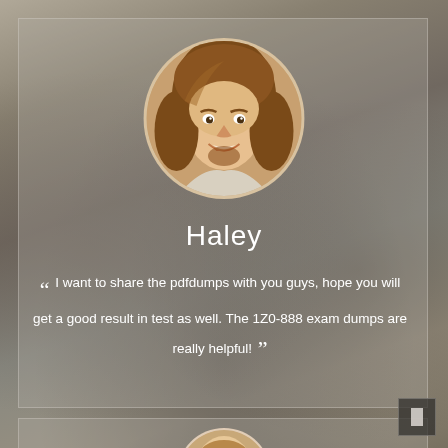[Figure (photo): Background photo of a person using a laptop, keyboard visible, blurred/bokeh style]
[Figure (photo): Circular portrait photo of a smiling young man with long hair, named Haley]
Haley
“ I want to share the pdfdumps with you guys, hope you will get a good result in test as well. The 1Z0-888 exam dumps are really helpful! ”
[Figure (photo): Partially visible circular portrait photo at the bottom of the page, second testimonial]